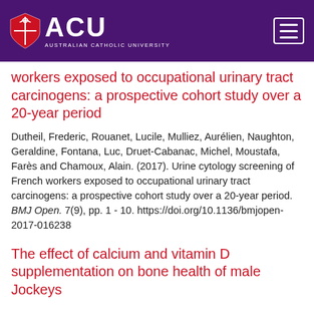[Figure (logo): ACU Australian Catholic University logo with shield on purple header background, with hamburger menu icon on right]
workers exposed to occupational urinary tract carcinogens: a prospective cohort study over a 20-year period
Dutheil, Frederic, Rouanet, Lucile, Mulliez, Aurélien, Naughton, Geraldine, Fontana, Luc, Druet-Cabanac, Michel, Moustafa, Farès and Chamoux, Alain. (2017). Urine cytology screening of French workers exposed to occupational urinary tract carcinogens: a prospective cohort study over a 20-year period. BMJ Open. 7(9), pp. 1 - 10. https://doi.org/10.1136/bmjopen-2017-016238
The effect of calcium and vitamin D supplementation on bone health of male Jockeys